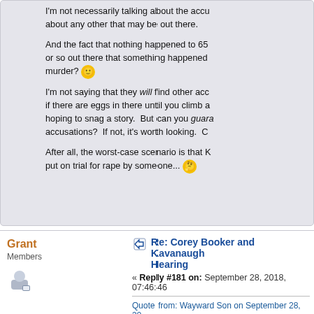I'm not necessarily talking about the accu about any other that may be out there.
And the fact that nothing happened to 65 or so out there that something happened murder? 🙂
I'm not saying that they will find other acc if there are eggs in there until you climb a hoping to snag a story. But can you guara accusations? If not, it's worth looking. C
After all, the worst-case scenario is that K put on trial for rape by someone... 🤔
Grant
Members
Re: Corey Booker and Kavanaugh Hearing
« Reply #181 on: September 28, 2018, 07:46:46
Quote from: Wayward Son on September 28, 20
Quote
That "being sloshed can affect your long-term